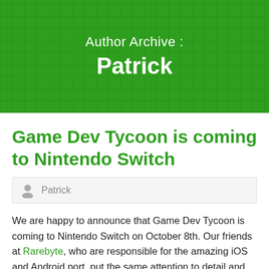Author Archive : Patrick
Game Dev Tycoon is coming to Nintendo Switch
Patrick
We are happy to announce that Game Dev Tycoon is coming to Nintendo Switch on October 8th. Our friends at Rarebyte, who are responsible for the amazing iOS and Android port, put the same attention to detail and care into porting it to Switch and the game just feels right at home on the console. We can't wait for you to try it.